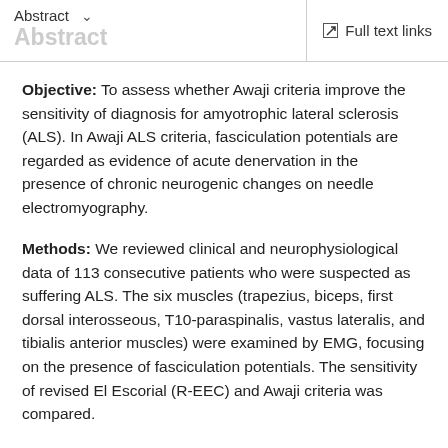Abstract  ∨    Full text links
Objective: To assess whether Awaji criteria improve the sensitivity of diagnosis for amyotrophic lateral sclerosis (ALS). In Awaji ALS criteria, fasciculation potentials are regarded as evidence of acute denervation in the presence of chronic neurogenic changes on needle electromyography.
Methods: We reviewed clinical and neurophysiological data of 113 consecutive patients who were suspected as suffering ALS. The six muscles (trapezius, biceps, first dorsal interosseous, T10-paraspinalis, vastus lateralis, and tibialis anterior muscles) were examined by EMG, focusing on the presence of fasciculation potentials. The sensitivity of revised El Escorial (R-EEC) and Awaji criteria was compared.
Results: Probable or definite ALS was diagnosed in 61%